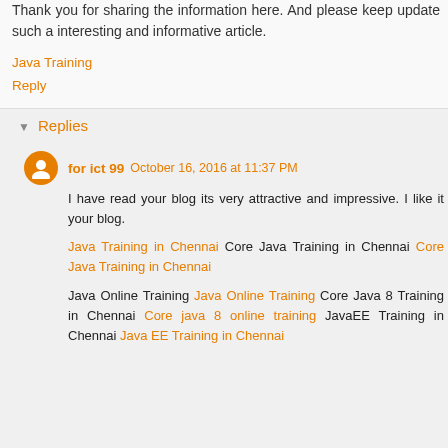Thank you for sharing the information here. And please keep update such a interesting and informative article.
Java Training
Reply
Replies
for ict 99  October 16, 2016 at 11:37 PM
I have read your blog its very attractive and impressive. I like it your blog.
Java Training in Chennai Core Java Training in Chennai Core Java Training in Chennai
Java Online Training Java Online Training Core Java 8 Training in Chennai Core java 8 online training JavaEE Training in Chennai Java EE Training in Chennai
for ict 99  October 16, 2016 at 11:38 PM